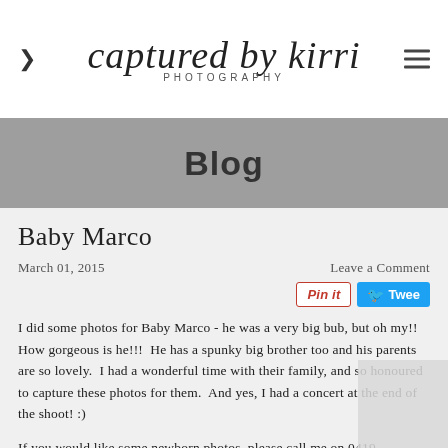[Figure (logo): Captured by Kirri Photography logo with cursive script text and chevron/hamburger menu icons]
Blog
Baby Marco
March 01, 2015
Leave a Comment
I did some photos for Baby Marco - he was a very big bub, but oh my!!  How gorgeous is he!!!  He has a spunky big brother too and his parents are so lovely.  I had a wonderful time with their family, and so honoured to capture these photos for them.  And yes, I had a concert at the end of the shoot! :)
If you would like some newborn photos, please call me on 0419